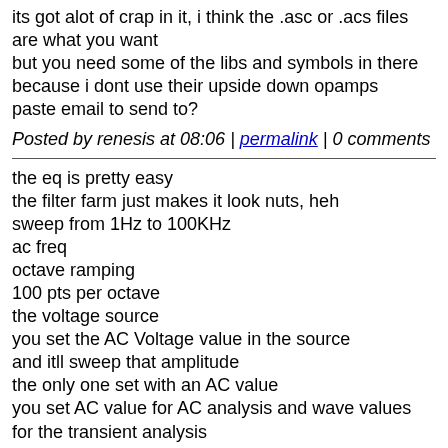its got alot of crap in it, i think the .asc or .acs files are what you want
but you need some of the libs and symbols in there because i dont use their upside down opamps
paste email to send to?
Posted by renesis at 08:06 | permalink | 0 comments
the eq is pretty easy
the filter farm just makes it look nuts, heh
sweep from 1Hz to 100KHz
ac freq
octave ramping
100 pts per octave
the voltage source
you set the AC Voltage value in the source
and itll sweep that amplitude
the only one set with an AC value
you set AC value for AC analysis and wave values for the transient analysis
i usually set both and then you just use the settings interface to setup the spice lines
yeah
Posted by renesis at 08:01 | permalink | 0 comments